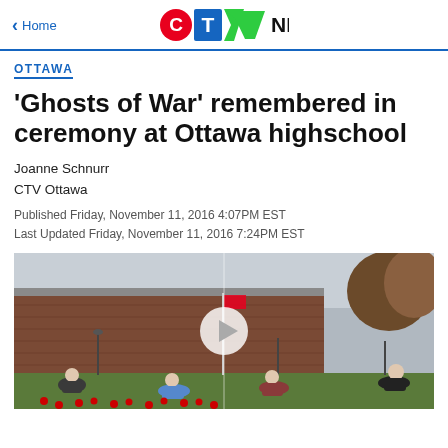< Home | CTV News
OTTAWA
'Ghosts of War' remembered in ceremony at Ottawa highschool
Joanne Schnurr
CTV Ottawa
Published Friday, November 11, 2016 4:07PM EST
Last Updated Friday, November 11, 2016 7:24PM EST
[Figure (photo): Video thumbnail showing students placing red poppies on a school lawn outside a brick building, with a Canadian flag visible on a flagpole. A play button overlay is shown in the center.]